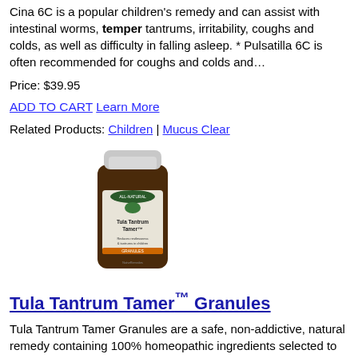Cina 6C is a popular children's remedy and can assist with intestinal worms, temper tantrums, irritability, coughs and colds, as well as difficulty in falling asleep. * Pulsatilla 6C is often recommended for coughs and colds and…
Price: $39.95
ADD TO CART  Learn More
Related Products: Children | Mucus Clear
[Figure (photo): Product photo of Tula Tantrum Tamer bottle — dark amber glass bottle with white cap and label reading 'Tula Tantrum Tamer' by NativeRemedies, ALL-NATURAL granules]
Tula Tantrum Tamer™ Granules
Tula Tantrum Tamer Granules are a safe, non-addictive, natural remedy containing 100% homeopathic ingredients selected to temporarily relieve tempers, tantrums and restlessness in children.